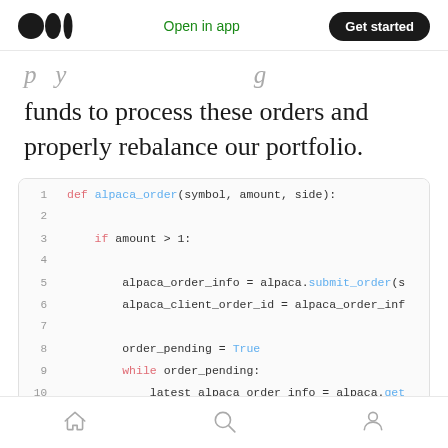Medium logo | Open in app | Get started
funds to process these orders and properly rebalance our portfolio.
[Figure (screenshot): Code block showing Python function 'alpaca_order(symbol, amount, side)' with line numbers 1-11. Lines include: def alpaca_order(symbol, amount, side):, if amount > 1:, alpaca_order_info = alpaca.submit_order(s, alpaca_client_order_id = alpaca_order_inf, order_pending = True, while order_pending:, latest_alpaca_order_info = alpaca.get, alpaca_latest_status = latest_alpaca_]
Home | Search | Profile